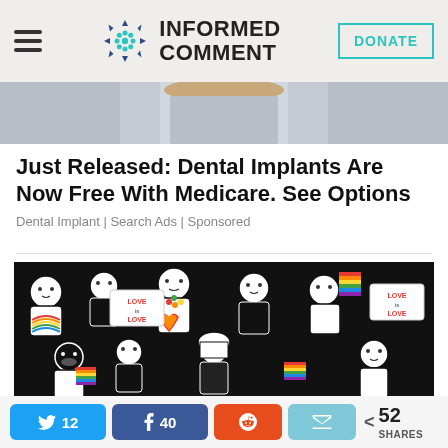INFORMED COMMENT
[Figure (photo): Partial view of a person's torso wearing a light grey top, cropped photo at top of page]
Just Released: Dental Implants Are Now Free With Medicare. See Options
Dental Implant | Search Ads | Sponsored
[Figure (illustration): Black and white illustration of a diverse crowd of people at a Pride event, with colorful rainbow accents, signs reading 'Love is Love', and rainbow flags]
12 Twitter shares, 40 Facebook shares, Reddit share, Email share, 52 SHARES total